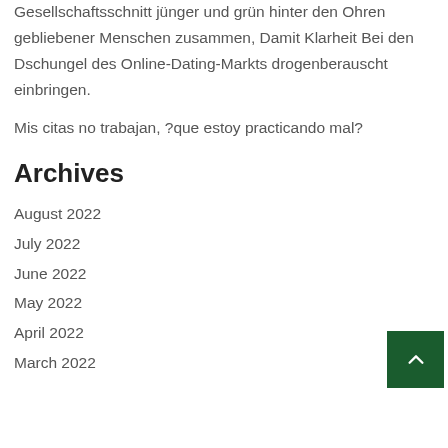Gesellschaftsschnitt jünger und grün hinter den Ohren gebliebener Menschen zusammen, Damit Klarheit Bei den Dschungel des Online-Dating-Markts drogenberauscht einbringen.
Mis citas no trabajan, ?que estoy practicando mal?
Archives
August 2022
July 2022
June 2022
May 2022
April 2022
March 2022